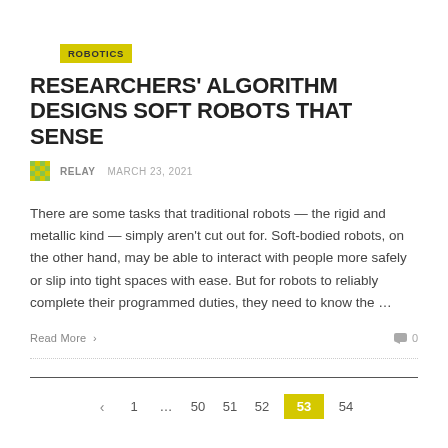ROBOTICS
RESEARCHERS' ALGORITHM DESIGNS SOFT ROBOTS THAT SENSE
RELAY   MARCH 23, 2021
There are some tasks that traditional robots — the rigid and metallic kind — simply aren't cut out for. Soft-bodied robots, on the other hand, may be able to interact with people more safely or slip into tight spaces with ease. But for robots to reliably complete their programmed duties, they need to know the …
Read More >
0
< 1 … 50 51 52 53 54